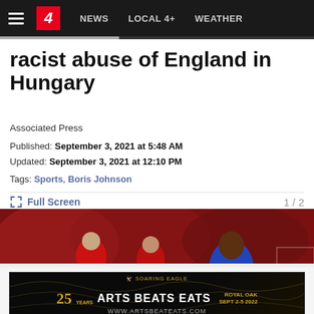NEWS  LOCAL 4+  WEATHER
racist abuse of England in Hungary
Associated Press
Published: September 3, 2021 at 5:48 AM
Updated: September 3, 2021 at 12:10 PM
Tags: Sports, Boris Johnson
Full Screen  1 / 2
[Figure (photo): Soccer players on a field. An England player in blue jersey number 10 is visible in the foreground, with players in red jerseys running in the background.]
[Figure (infographic): Advertisement banner: 25 YEARS ARTS BEATS EATS ROYAL OAK SEPT 2-5 2022 www.artsbeateats.com by Soaring Eagle]